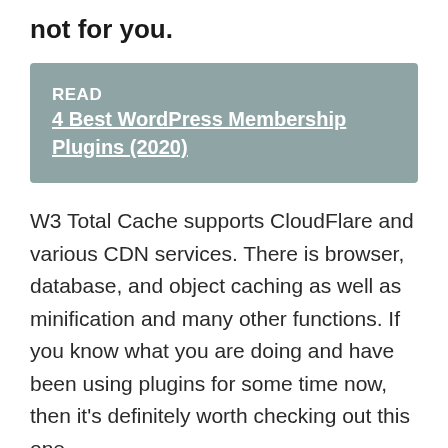not for you.
READ   4 Best WordPress Membership Plugins (2020)
W3 Total Cache supports CloudFlare and various CDN services. There is browser, database, and object caching as well as minification and many other functions. If you know what you are doing and have been using plugins for some time now, then it’s definitely worth checking out this one.